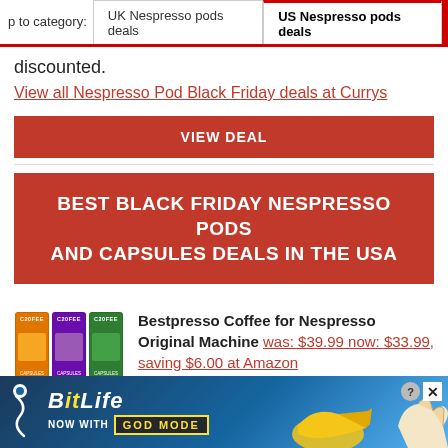p to category: UK Nespresso pods deals | US Nespresso pods deals
discounted.
View all Nespresso Pod Black Friday deals at Currys
VIEW DEAL
BEST BLACK FRIDAY NESPRESSO PODS AND CAPSULES DEALS IN THE USA
Bestpresso Coffee for Nespresso Original Machine was: $39.99 now: $33.99, saving $6.00 at Amazon
[Figure (screenshot): Product image showing three C2OFFEE capsule boxes in orange, purple, and green colors]
[Figure (advertisement): BitLife game advertisement banner - NOW WITH GOD MODE, with hand pointing graphic]